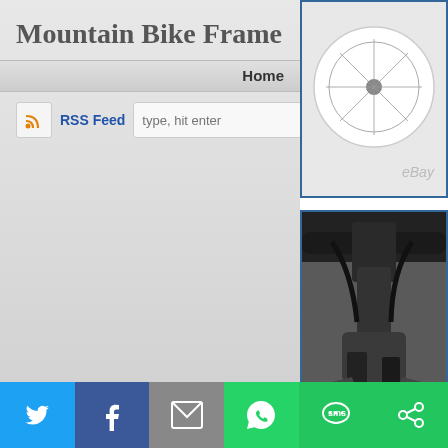Mountain Bike Frame
Home
RSS Feed  type, hit enter
Log in
[Figure (photo): Mountain bike wheel and frame, eBay listing photo]
[Figure (photo): Close-up of mountain bike handlebars, stem, and brake components in black]